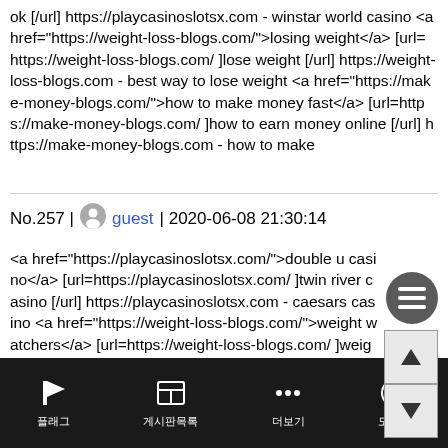ok [/url] https://playcasinoslotsx.com - winstar world casino <a href="https://weight-loss-blogs.com/">losing weight</a> [url= https://weight-loss-blogs.com/ ]lose weight [/url] https://weight-loss-blogs.com - best way to lose weight <a href="https://make-money-blogs.com/">how to make money fast</a> [url=https://make-money-blogs.com/ ]how to earn money online [/url] https://make-money-blogs.com - how to make
No.257 | guest | 2020-06-08 21:30:14
<a href="https://playcasinoslotsx.com/">double u casino</a> [url=https://playcasinoslotsx.com/ ]twin river casino [/url] https://playcasinoslotsx.com - caesars casino <a href="https://weight-loss-blogs.com/">weight watchers</a> [url=https://weight-loss-blogs.com/ ]weight calculator [/url] https://weight-loss-blogs.com - how to lose weight in a week <a href="https://make-money-blogs.com/">how to make money from home</a> [url= https://make-money-blogs.com/ ]how to get money [/url] https://make-money-blogs.com - how to make
플래그  게시판목록  더보기  도움말